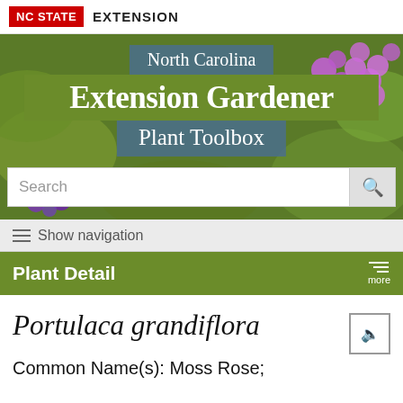NC STATE  EXTENSION
[Figure (screenshot): North Carolina Extension Gardener Plant Toolbox banner with plant/berry background imagery, search bar]
☰ Show navigation
Plant Detail  more
Portulaca grandiflora
Common Name(s): Moss Rose;